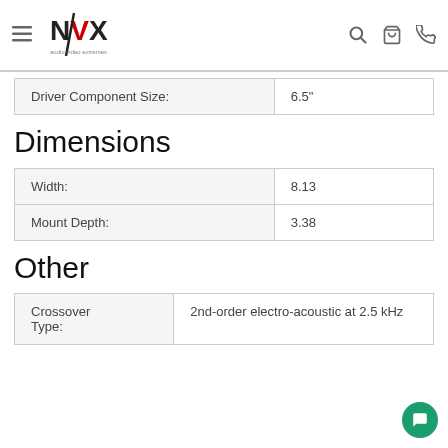AVX audio video extremes navigation header
| Driver Component Size: | 6.5" |
| --- | --- |
Dimensions
| Width: | 8.13 |
| --- | --- |
| Mount Depth: | 3.38 |
Other
| Crossover Type: | 2nd-order electro-acoustic at 2.5 kHz |
| --- | --- |